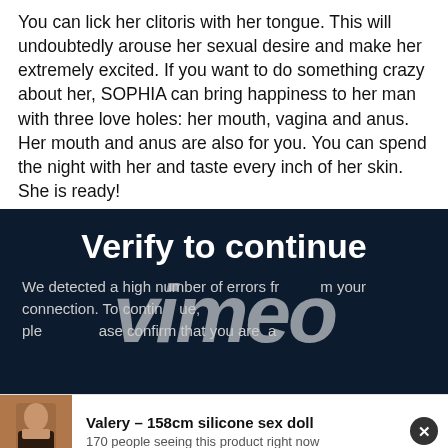You can lick her clitoris with her tongue. This will undoubtedly arouse her sexual desire and make her extremely excited. If you want to do something crazy about her, SOPHIA can bring happiness to her man with three love holes: her mouth, vagina and anus. Her mouth and anus are also for you. You can spend the night with her and taste every inch of her skin. She is ready!
[Figure (screenshot): Dark navy blue verification dialog overlay with large white bold text 'Verify to continue', a large italic Vimeo watermark logo in semi-transparent white, and smaller grey text reading 'We detected a high number of errors from your connection. To continue, please confirm that you are a']
[Figure (infographic): Product popup bar at bottom showing a photo of a woman in black leather outfit on left, with bold text 'Valery – 158cm silicone sex doll' and subtext '170 people seeing this product right now', with a dark circular X close button on the right]